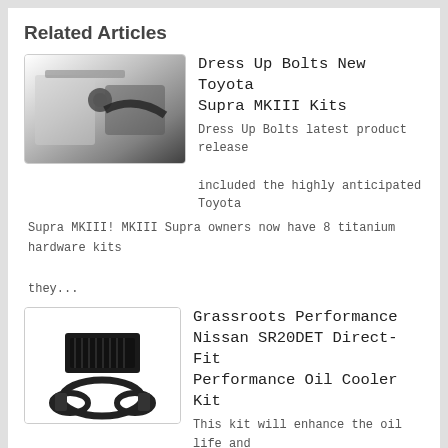Related Articles
[Figure (photo): Photo of car engine bay with bolts and hose components]
Dress Up Bolts New Toyota Supra MKIII Kits
Dress Up Bolts latest product release included the highly anticipated Toyota Supra MKIII! MKIII Supra owners now have 8 titanium hardware kits they...
[Figure (photo): Photo of oil cooler kit with hoses and fittings on white background]
Grassroots Performance Nissan SR20DET Direct-Fit Performance Oil Cooler Kit
This kit will enhance the oil life and lubrication of your Nissan engine. The oil block plate adapter for Nissan SR20DET, SR20DE, S13, S14, S15 is CNC...
[Figure (photo): Photo of reflective thermal material rolled out]
DEI Reflect-A-Cool™ (36" Wide Per Foot)